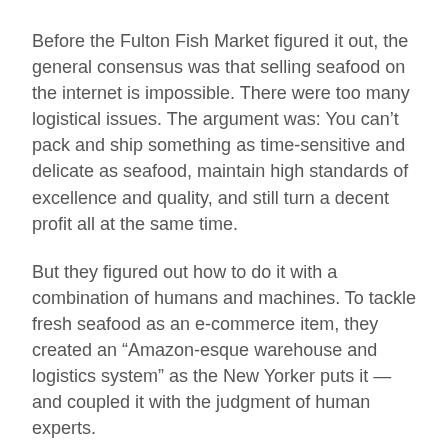Before the Fulton Fish Market figured it out, the general consensus was that selling seafood on the internet is impossible. There were too many logistical issues. The argument was: You can't pack and ship something as time-sensitive and delicate as seafood, maintain high standards of excellence and quality, and still turn a decent profit all at the same time.
But they figured out how to do it with a combination of humans and machines. To tackle fresh seafood as an e-commerce item, they created an “Amazon-esque warehouse and logistics system” as the New Yorker puts it — and coupled it with the judgment of human experts.
The “Last Robot-Proof Job” the New Yorker speaks of in the article title belongs to Bobby Tuna, the most respected fish picker in Manhattan (and possibly the entire Western Hemisphere).